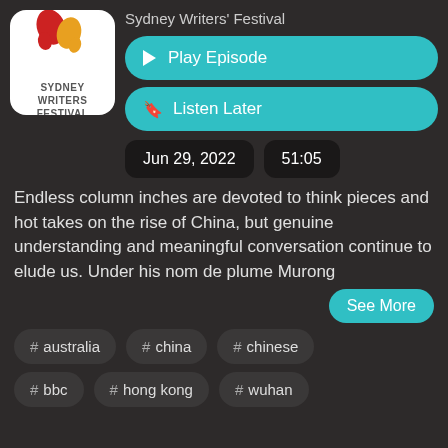[Figure (logo): Sydney Writers Festival logo with red and yellow comma/quotation mark graphic on white background]
Sydney Writers' Festival
▶ Play Episode
🔖 Listen Later
Jun 29, 2022
51:05
Endless column inches are devoted to think pieces and hot takes on the rise of China, but genuine understanding and meaningful conversation continue to elude us. Under his nom de plume Murong
See More
# australia
# china
# chinese
# bbc
# hong kong
# wuhan